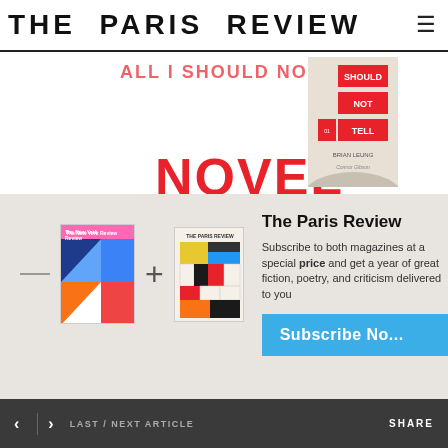THE PARIS REVIEW
[Figure (illustration): Book promotion image showing text 'ALL I SHOULD NOT TELL' and 'NOVEL' in red, with a book cover on the right side (Brian Leung / Connor Gibson)]
[Figure (infographic): Subscription banner showing two magazine covers (The New York Review and The Paris Review) with a plus sign between them, and subscription call to action text and button]
The Paris Review
Subscribe to both magazines at a special price and get a year of great fiction, poetry, and criticism delivered to you
Subscribe Now
[Figure (illustration): Bottom decorative blue/white striped fan or arch pattern]
< > LAST / NEXT ARTICLE   SHARE